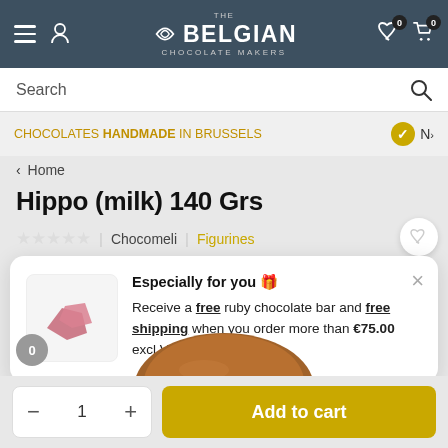THE BELGIAN CHOCOLATE MAKERS
Search
CHOCOLATES HANDMADE IN BRUSSELS
< Home
Hippo (milk) 140 Grs
★★★★★ | Chocomeli | Figurines
[Figure (screenshot): Popup card with ruby chocolate bar image and promotional text: Especially for you 🎁 Receive a free ruby chocolate bar and free shipping when you order more than €75.00 excl VAT.]
Especially for you 🎁
Receive a free ruby chocolate bar and free shipping when you order more than €75.00 excl VAT.
[Figure (photo): Partial view of a milk chocolate hippo figurine]
- 1 + | Add to cart